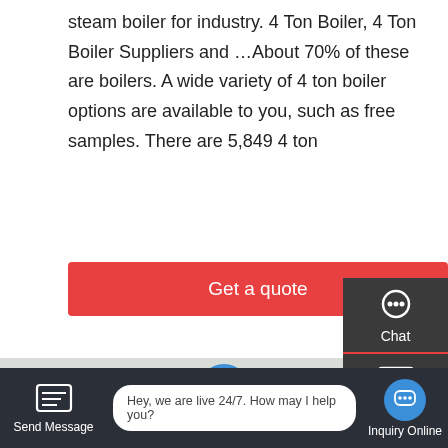steam boiler for industry. 4 Ton Boiler, 4 Ton Boiler Suppliers and …About 70% of these are boilers. A wide variety of 4 ton boiler options are available to you, such as free samples. There are 5,849 4 ton
Get a quote
[Figure (photo): Industrial steam boiler in a factory setting, showing a large cylindrical silver boiler with pipes, valves, and gauges.]
[Figure (infographic): Side panel UI with Chat, Email, and Contact icons on dark background]
[Figure (screenshot): Bottom chat bar with Send Message button, live chat bubble saying 'Hey, we are live 24/7. How may I help you?', and Inquiry Online button]